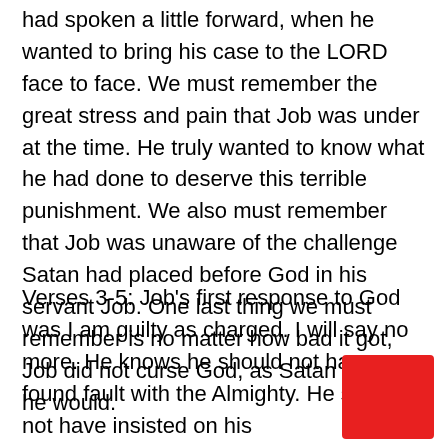had spoken a little forward, when he wanted to bring his case to the LORD face to face. We must remember the great stress and pain that Job was under at the time. He truly wanted to know what he had done to deserve this terrible punishment. We also must remember that Job was unaware of the challenge Satan had placed before God in his servant Job. One last thing we must remember is no matter how bad it got, Job did not curse God, as Satan had said he would.
Verses 3-5: Job's first response to God was I am guilty as charged. I will say no more. He knows he should not have found fault with the Almighty. He should not have insisted on his